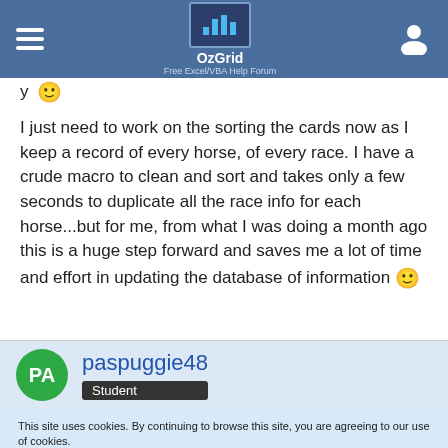OzGrid Free Excel/VBA Help Forum
I just need to work on the sorting the cards now as I keep a record of every horse, of every race. I have a crude macro to clean and sort and takes only a few seconds to duplicate all the race info for each horse...but for me, from what I was doing a month ago this is a huge step forward and saves me a lot of time and effort in updating the database of information 🙂
paspuggie48 Student